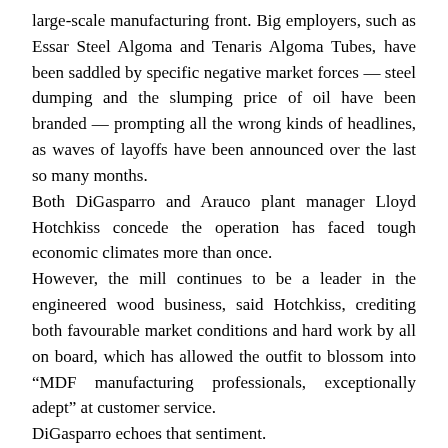large-scale manufacturing front. Big employers, such as Essar Steel Algoma and Tenaris Algoma Tubes, have been saddled by specific negative market forces — steel dumping and the slumping price of oil have been branded — prompting all the wrong kinds of headlines, as waves of layoffs have been announced over the last so many months.
Both DiGasparro and Arauco plant manager Lloyd Hotchkiss concede the operation has faced tough economic climates more than once.
However, the mill continues to be a leader in the engineered wood business, said Hotchkiss, crediting both favourable market conditions and hard work by all on board, which has allowed the outfit to blossom into "MDF manufacturing professionals, exceptionally adept" at customer service.
DiGasparro echoes that sentiment.